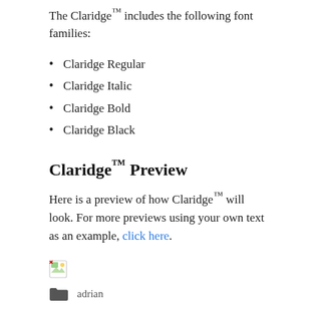The Claridge™ includes the following font families:
Claridge Regular
Claridge Italic
Claridge Bold
Claridge Black
Claridge™ Preview
Here is a preview of how Claridge™ will look. For more previews using your own text as an example, click here.
[Figure (other): Broken image placeholder icon (small green and white icon)]
adrian